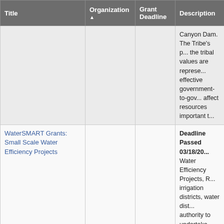| Title | Organization ▲ | Grant Deadline | Description |
| --- | --- | --- | --- |
|  |  |  | Canyon Dam. The Tribe's p... the tribal values are represe... effective government-to-gov... affect resources important t... |
| WaterSMART Grants: Small Scale Water Efficiency Projects | DOI, BOR |  | Deadline Passed 03/18/20... Water Efficiency Projects, R... irrigation districts, water dist... authority to undertake small... prioritized through planning... and use water more efficien... water conflict; and accompli... reliability in the western Uni... |
| WaterSMART Drought Response Program: Drought Resiliency | DOI, BOR |  | Last Deadline: August 5... tribes, irrigation districts, w... power delivery authority to... with Reclamation on Drou... of water supplies; improve... wildlife, and the environ... |